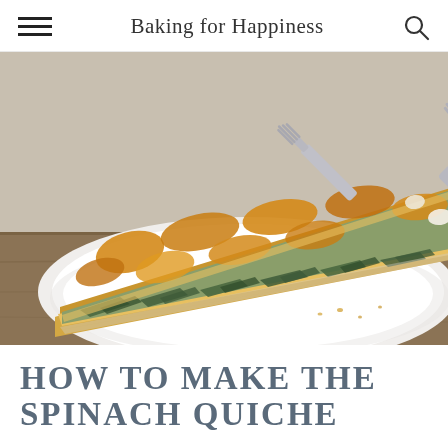Baking for Happiness
[Figure (photo): A triangular slice of spinach quiche on a white plate, with a silver fork resting beside it. The quiche has a golden-brown cheesy top with visible spinach and a pastry crust. Some crumbs are scattered on the plate. The plate sits on a rustic wooden surface.]
HOW TO MAKE THE SPINACH QUICHE